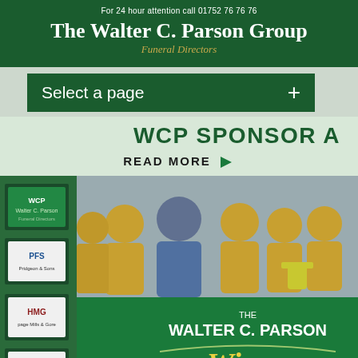For 24 hour attention call 01752 76 76 76
The Walter C. Parson Group
Funeral Directors
Select a page +
WCP SPONSOR A
READ MORE
[Figure (photo): Football team celebrating a win, holding trophies and bottles, in front of a Walter C. Parson Group Winners banner. Players wearing yellow and black jerseys. Sponsor boards visible in background.]